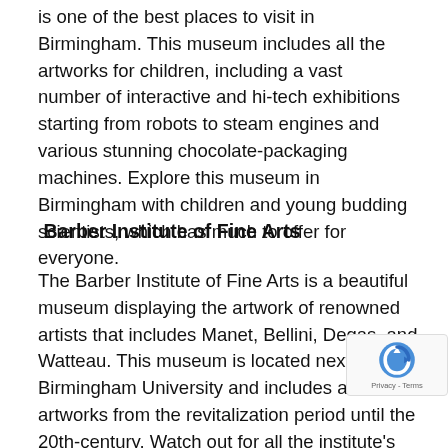is one of the best places to visit in Birmingham. This museum includes all the artworks for children, including a vast number of interactive and hi-tech exhibitions starting from robots to steam engines and various stunning chocolate-packaging machines. Explore this museum in Birmingham with children and young budding scientists, which has much to offer for everyone.
Barber Institute of Fine Arts
The Barber Institute of Fine Arts is a beautiful museum displaying the artwork of renowned artists that includes Manet, Bellini, Degas, and Watteau. This museum is located next to Birmingham University and includes ancient artworks from the revitalization period until the 20th-century. Watch out for all the institute's artifacts and schedule of classical lunchtime and evening concerts. Make sure you visit this place and acquire all the art galleries erected between 1936 and 1939, including libraries, offices, and an expansive concert hall.